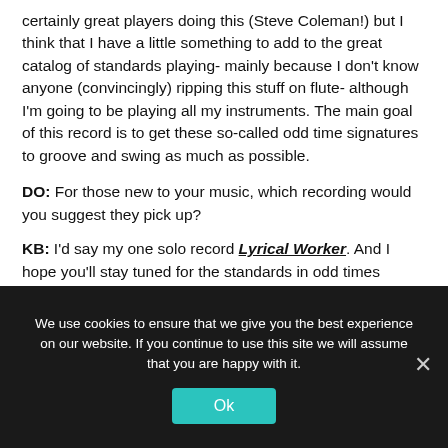certainly great players doing this (Steve Coleman!) but I think that I have a little something to add to the great catalog of standards playing- mainly because I don't know anyone (convincingly) ripping this stuff on flute- although I'm going to be playing all my instruments. The main goal of this record is to get these so-called odd time signatures to groove and swing as much as possible.
DO: For those new to your music, which recording would you suggest they pick up?
KB: I'd say my one solo record Lyrical Worker. And I hope you'll stay tuned for the standards in odd times record!
We use cookies to ensure that we give you the best experience on our website. If you continue to use this site we will assume that you are happy with it.